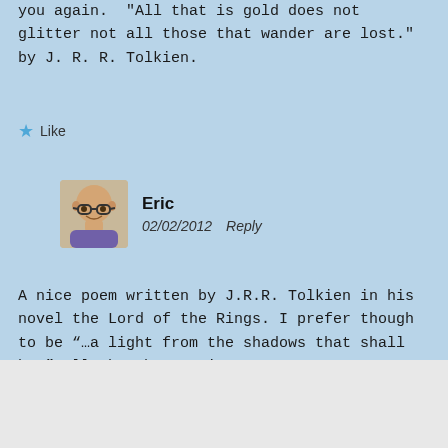you again.  "All that is gold does not glitter not all those that wander are lost." by J. R. R. Tolkien.
Like
Eric
02/02/2012   Reply
[Figure (photo): Profile photo of commenter Eric, a bald man with glasses, smiling]
A nice poem written by J.R.R. Tolkien in his novel the Lord of the Rings. I prefer though to be “…a light from the shadows that shall be…” all the about Eric
Advertisements
[Figure (infographic): DuckDuckGo advertisement banner: 'Search, browse, and email with more privacy. All in One Free App']